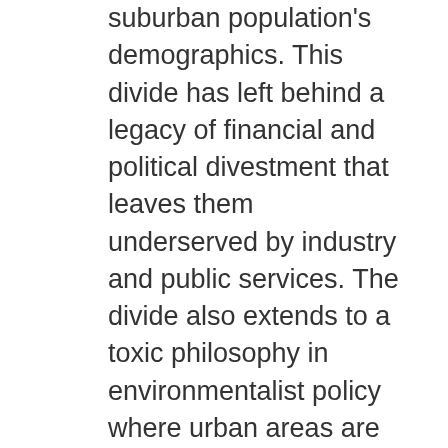suburban population's demographics. This divide has left behind a legacy of financial and political divestment that leaves them underserved by industry and public services. The divide also extends to a toxic philosophy in environmentalist policy where urban areas are not viewed as places worth considering as a part of environmental programs. This leaves communities without access to local farm fresh produce or green and open spaces. Meanwhile, the very same underserved communities are actively contributing via state or local taxation to farm preservation